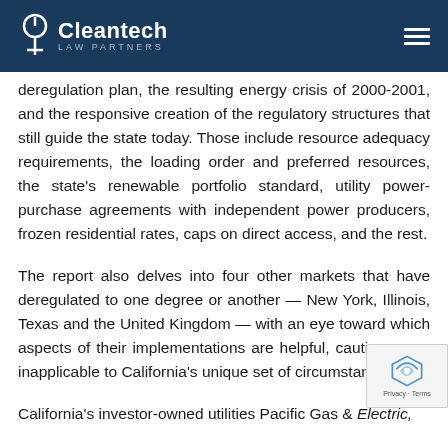Cleantech Law Partners
deregulation plan, the resulting energy crisis of 2000-2001, and the responsive creation of the regulatory structures that still guide the state today. Those include resource adequacy requirements, the loading order and preferred resources, the state's renewable portfolio standard, utility power-purchase agreements with independent power producers, frozen residential rates, caps on direct access, and the rest.
The report also delves into four other markets that have deregulated to one degree or another — New York, Illinois, Texas and the United Kingdom — with an eye toward which aspects of their implementations are helpful, cautionary, or inapplicable to California's unique set of circumstances.
California's investor-owned utilities Pacific Gas & Electric,